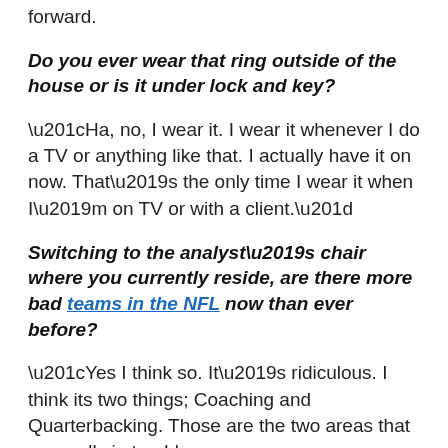forward.
Do you ever wear that ring outside of the house or is it under lock and key?
“Ha, no, I wear it. I wear it whenever I do a TV or anything like that. I actually have it on now. That’s the only time I wear it when I’m on TV or with a client.”
Switching to the analyst’s chair where you currently reside, are there more bad teams in the NFL now than ever before?
“Yes I think so. It’s ridiculous. I think its two things; Coaching and Quarterbacking. Those are the two areas that are really in trouble.